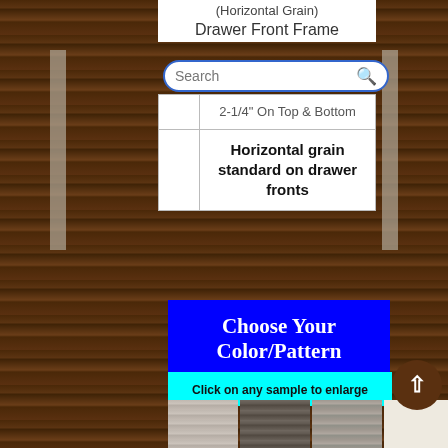(Horizontal Grain)
Drawer Front Frame
Search
| 2-1/4" On Top & Bottom |
| Horizontal grain standard on drawer fronts |
Choose Your Color/Pattern
Click on any sample to enlarge
[Figure (photo): Four laminate/veneer color sample thumbnails at bottom of page]